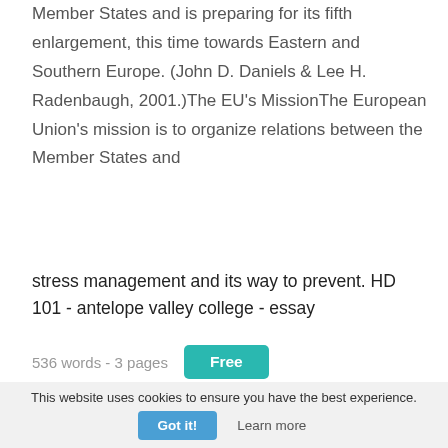Member States and is preparing for its fifth enlargement, this time towards Eastern and Southern Europe. (John D. Daniels & Lee H. Radenbaugh, 2001.)The EU's MissionThe European Union's mission is to organize relations between the Member States and
stress management and its way to prevent. HD 101 - antelope valley college - essay
536 words - 3 pages
Free
Other results include cardiovascular system
This website uses cookies to ensure you have the best experience.
Got it!
Learn more